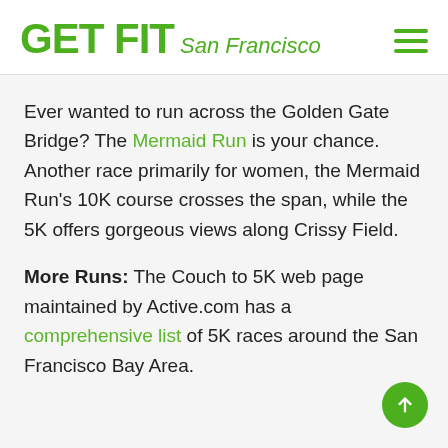GET FIT San Francisco
Ever wanted to run across the Golden Gate Bridge? The Mermaid Run is your chance. Another race primarily for women, the Mermaid Run's 10K course crosses the span, while the 5K offers gorgeous views along Crissy Field.
More Runs: The Couch to 5K web page maintained by Active.com has a comprehensive list of 5K races around the San Francisco Bay Area.